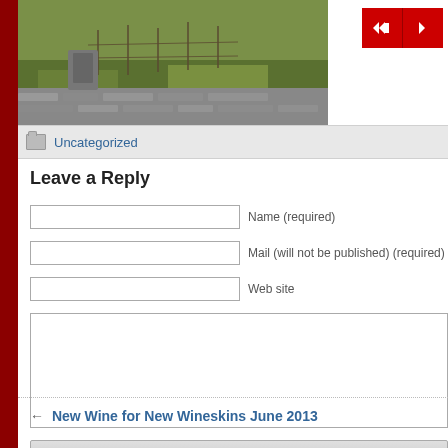[Figure (photo): Partial view of stone ruins with green grass, an old wall or fortification visible]
[Figure (other): Navigation buttons: left (with speaker/back icon) and right arrow, red background]
Uncategorized
Leave a Reply
Name (required)
Mail (will not be published) (required)
Web site
Add your Reply
← New Wine for New Wineskins June 2013